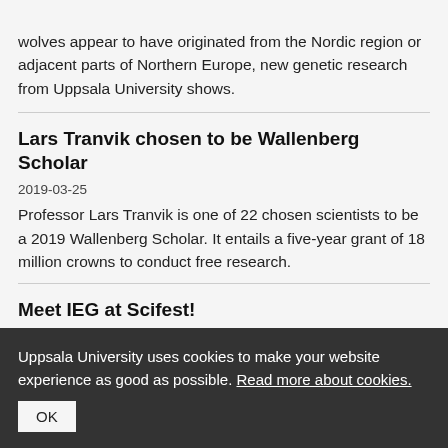≡ Menu
wolves appear to have originated from the Nordic region or adjacent parts of Northern Europe, new genetic research from Uppsala University shows.
Lars Tranvik chosen to be Wallenberg Scholar
2019-03-25
Professor Lars Tranvik is one of 22 chosen scientists to be a 2019 Wallenberg Scholar. It entails a five-year grant of 18 million crowns to conduct free research.
Meet IEG at Scifest!
Uppsala University uses cookies to make your website experience as good as possible. Read more about cookies.